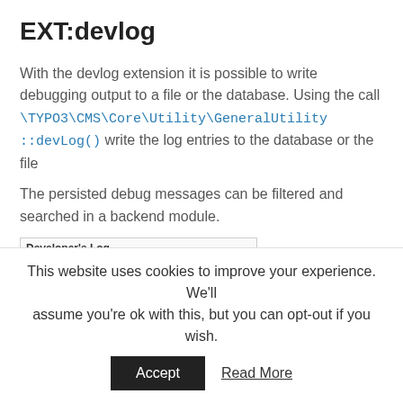EXT:devlog
With the devlog extension it is possible to write debugging output to a file or the database. Using the call \TYPO3\CMS\Core\Utility\GeneralUtility::devLog() write the log entries to the database or the file
The persisted debug messages can be filtered and searched in a backend module.
[Figure (screenshot): Screenshot of Developer's Log backend module with toolbar showing Reload, Automatic reload, and Cleanup run buttons]
This website uses cookies to improve your experience. We'll assume you're ok with this, but you can opt-out if you wish.
Accept   Read More